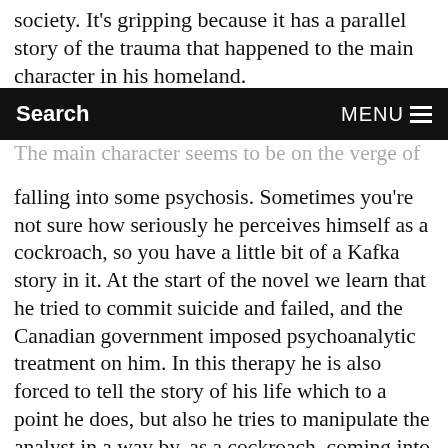society. It's gripping because it has a parallel story of the trauma that happened to the main character in his homeland.
Search   MENU
The main character seems to be on the verge of falling into some psychosis. Sometimes you're not sure how seriously he perceives himself as a cockroach, so you have a little bit of a Kafka story in it. At the start of the novel we learn that he tried to commit suicide and failed, and the Canadian government imposed psychoanalytic treatment on him. In this therapy he is also forced to tell the story of his life which to a point he does, but also he tries to manipulate the analyst in a way by, as a cockroach, coming into her house and stealing some objects from it – he wants to be in charge.
I found it incredibly painful to read because it opened the questions of what happens to people who have been living in incredibly traumatic